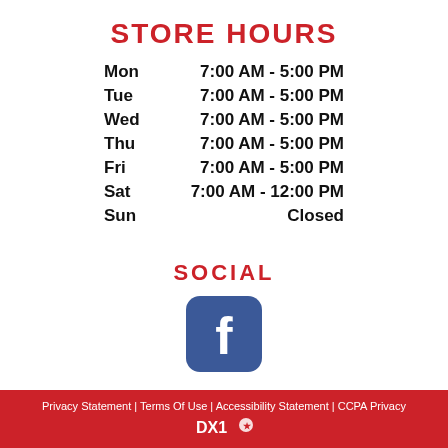STORE HOURS
| Day | Hours |
| --- | --- |
| Mon | 7:00 AM - 5:00 PM |
| Tue | 7:00 AM - 5:00 PM |
| Wed | 7:00 AM - 5:00 PM |
| Thu | 7:00 AM - 5:00 PM |
| Fri | 7:00 AM - 5:00 PM |
| Sat | 7:00 AM - 12:00 PM |
| Sun | Closed |
SOCIAL
[Figure (logo): Facebook logo icon — blue rounded square with white 'f']
Privacy and Cookie Policy
Privacy Statement | Terms Of Use | Accessibility Statement | CCPA Privacy